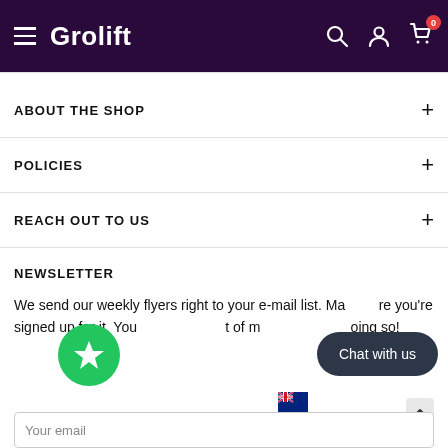Grolift
ABOUT THE SHOP
POLICIES
REACH OUT TO US
NEWSLETTER
We send our weekly flyers right to your e-mail list. Make sure you're signed up for it. You won't regret of missing out on doing so!